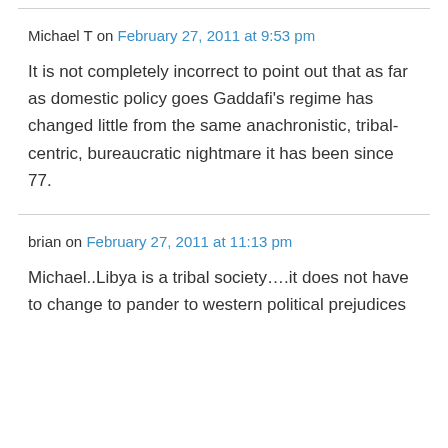Michael T on February 27, 2011 at 9:53 pm
It is not completely incorrect to point out that as far as domestic policy goes Gaddafi's regime has changed little from the same anachronistic, tribal-centric, bureaucratic nightmare it has been since 77.
brian on February 27, 2011 at 11:13 pm
Michael..Libya is a tribal society….it does not have to change to pander to western political prejudices